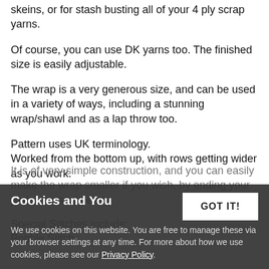skeins, or for stash busting all of your 4 ply scrap yarns.
Of course, you can use DK yarns too. The finished size is easily adjustable.
The wrap is a very generous size, and can be used in a variety of ways, including a stunning wrap/shawl and as a lap throw too.
Pattern uses UK terminology.
Worked from the bottom up, with rows getting wider as you work.
It is of very simple construction, and you can easily make the wrap smaller if you wish, by ending your pattern repeats early.
Special Stitches include:
Bobble Stitch.
Cookies and You
We use cookies on this website. You are free to manage these via your browser settings at any time. For more about how we use cookies, please see our Privacy Policy.